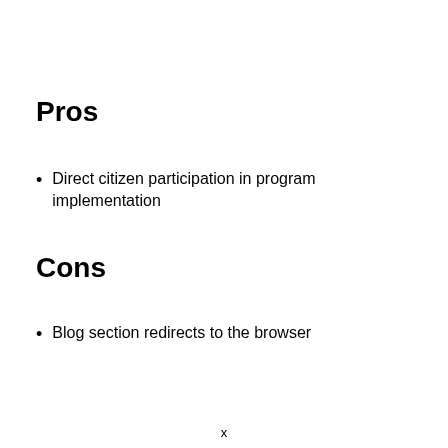Pros
Direct citizen participation in program implementation
Cons
Blog section redirects to the browser
x